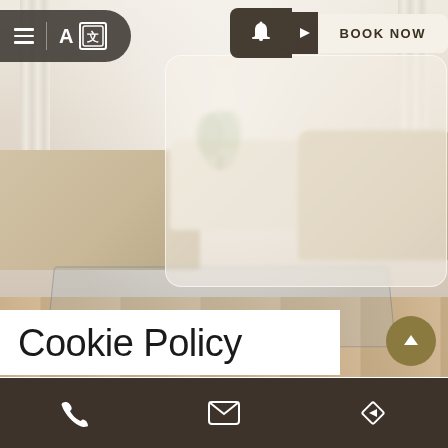[Figure (screenshot): Hotel website screenshot showing a navigation bar with hamburger menu, language toggle (A/文), and a 'BOOK NOW' button with bell icon. Background shows a hotel lobby/room interior with cream sofas, glass coffee table, wooden floor, and white curtains. A semi-transparent frosted glass card overlay appears in the center-right of the hero image.]
Cookie Policy
This Cookie Policy was last updated on February 24, 2023
Phone | Email | Navigation icons